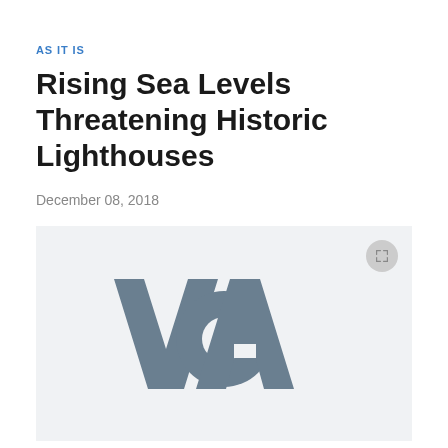AS IT IS
Rising Sea Levels Threatening Historic Lighthouses
December 08, 2018
[Figure (logo): VOA (Voice of America) logo placeholder image on a light gray background with a fullscreen button icon in the top right corner]